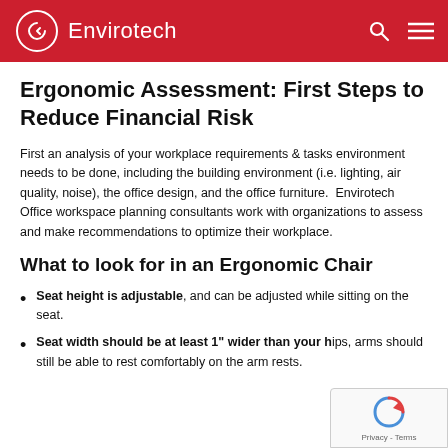Envirotech
Ergonomic Assessment: First Steps to Reduce Financial Risk
First an analysis of your workplace requirements & tasks environment needs to be done, including the building environment (i.e. lighting, air quality, noise), the office design, and the office furniture.  Envirotech Office workspace planning consultants work with organizations to assess and make recommendations to optimize their workplace.
What to look for in an Ergonomic Chair
Seat height is adjustable, and can be adjusted while sitting on the seat.
Seat width should be at least 1" wider than your hips, arms should still be able to rest comfortably on the arm rests.